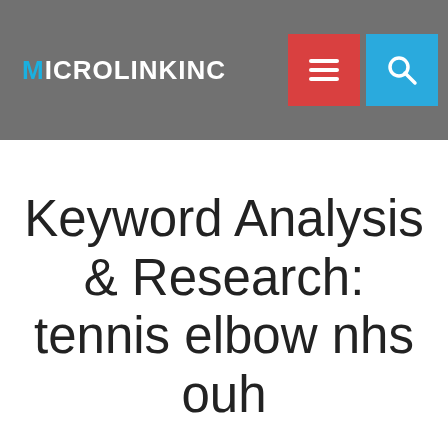MICROLINKINC
Keyword Analysis & Research: tennis elbow nhs ouh